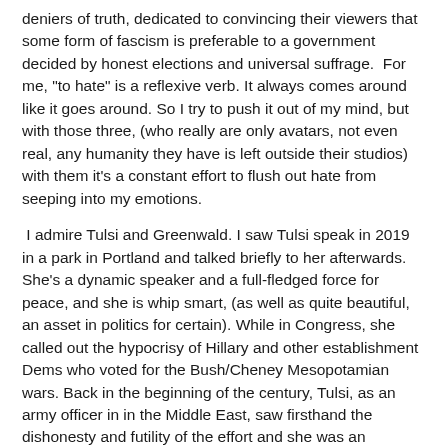deniers of truth, dedicated to convincing their viewers that some form of fascism is preferable to a government decided by honest elections and universal suffrage.  For me, "to hate" is a reflexive verb. It always comes around like it goes around. So I try to push it out of my mind, but with those three, (who really are only avatars, not even real, any humanity they have is left outside their studios) with them it's a constant effort to flush out hate from seeping into my emotions.
I admire Tulsi and Greenwald. I saw Tulsi speak in 2019 in a park in Portland and talked briefly to her afterwards. She's a dynamic speaker and a full-fledged force for peace, and she is whip smart, (as well as quite beautiful, an asset in politics for certain). While in Congress, she called out the hypocrisy of Hillary and other establishment Dems who voted for the Bush/Cheney Mesopotamian wars. Back in the beginning of the century, Tulsi, as an army officer in in the Middle East, saw firsthand the dishonesty and futility of the effort and she was an eloquent voice against our presence there, pointing out our ignorance of the region and the self-defeating nature of our own effort.
Glenn Greenwald helped Snowden publish on the...